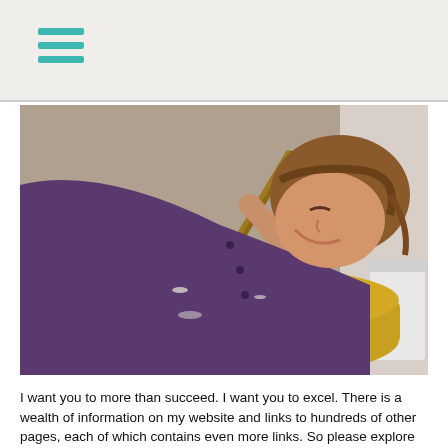[Figure (photo): A person wearing a purple shirt leans over a pottery wheel, using a wooden tool to shape a small white clay pot on a yellow pottery wheel basin.]
I want you to more than succeed. I want you to excel. There is a wealth of information on my website and links to hundreds of other pages, each of which contains even more links. So please explore this page and a few of the links on the bottom to get you going.
Here are some tips: